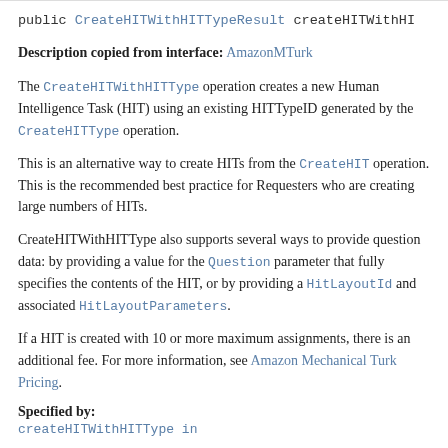public CreateHITWithHITTypeResult createHITWithHI
Description copied from interface: AmazonMTurk
The CreateHITWithHITType operation creates a new Human Intelligence Task (HIT) using an existing HITTypeID generated by the CreateHITType operation.
This is an alternative way to create HITs from the CreateHIT operation. This is the recommended best practice for Requesters who are creating large numbers of HITs.
CreateHITWithHITType also supports several ways to provide question data: by providing a value for the Question parameter that fully specifies the contents of the HIT, or by providing a HitLayoutId and associated HitLayoutParameters.
If a HIT is created with 10 or more maximum assignments, there is an additional fee. For more information, see Amazon Mechanical Turk Pricing.
Specified by:
createHITWithHITType in